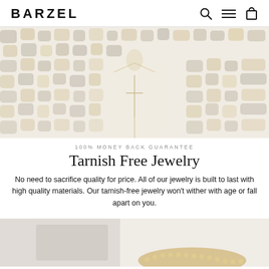BARZEL
[Figure (photo): Close-up of person wearing layered gold necklaces including a cross pendant, against a mosaic-patterned blouse background in cream, tan, and grey tones.]
100% MONEY BACK GUARANTEE
Tarnish Free Jewelry
No need to sacrifice quality for price. All of our jewelry is built to last with high quality materials. Our tarnish-free jewelry won't wither with age or fall apart on you.
[Figure (photo): Partial view of jewelry item, appears to be a bracelet or bangle on a light grey background, gold tones visible at bottom of page.]